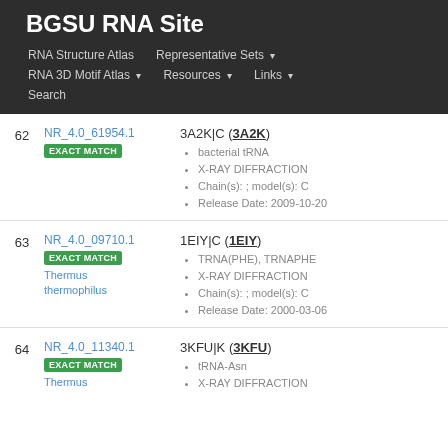BGSU RNA Site
RNA Structure Atlas | Representative Sets ▾ | RNA 3D Motif Atlas ▾ | Resources ▾ | Links ▾ | Search
| # | ID / Match | Entry Details |
| --- | --- | --- |
| 62 | NR_4.0_61954.1
EXACT MATCH | 3A2K|C (3A2K)
bacterial tRNA
X-RAY DIFFRACTION
Chain(s): ; model(s): C
Release Date: 2009-10-20 |
| 63 | NR_4.0_09710.1
EXACT MATCH
Thermus thermophilus | 1EIY|C (1EIY)
TRNA(PHE), TRNAPHE
X-RAY DIFFRACTION
Chain(s): ; model(s): C
Release Date: 2000-03-06 |
| 64 | NR_4.0_11340.1
EXACT MATCH
Thermus | 3KFU|K (3KFU)
tRNA-Asn
X-RAY DIFFRACTION |